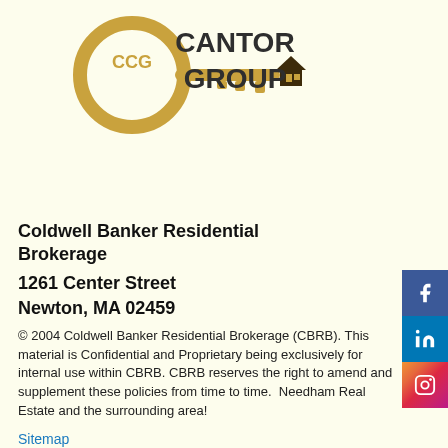[Figure (logo): Cantor CCG Group logo — a key shape with CCG text, golden color, with 'CANTOR GROUP' text in dark and a small house icon]
Coldwell Banker Residential Brokerage
1261 Center Street
Newton, MA 02459
© 2004 Coldwell Banker Residential Brokerage (CBRB). This material is Confidential and Proprietary being exclusively for internal use within CBRB. CBRB reserves the right to amend and supplement these policies from time to time.  Needham Real Estate and the surrounding area!
Sitemap